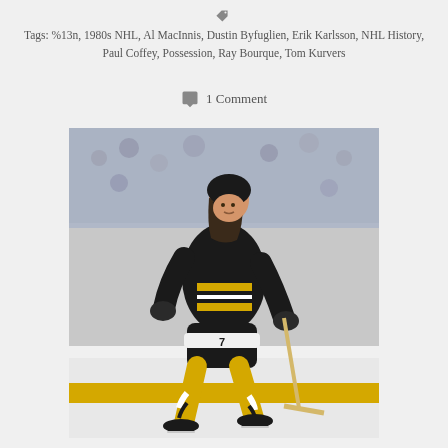Tags: %13n, 1980s NHL, Al MacInnis, Dustin Byfuglien, Erik Karlsson, NHL History, Paul Coffey, Possession, Ray Bourque, Tom Kurvers
1 Comment
[Figure (photo): Hockey player wearing Boston Bruins black and gold jersey number 7, skating on ice with a hockey stick, crowd visible in background. The player has long hair and is leaning forward in a skating stride.]